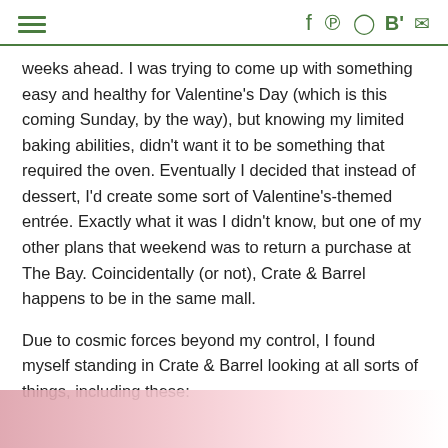hamburger menu | f p ☉ B' ✉
weeks ahead. I was trying to come up with something easy and healthy for Valentine's Day (which is this coming Sunday, by the way), but knowing my limited baking abilities, didn't want it to be something that required the oven. Eventually I decided that instead of dessert, I'd create some sort of Valentine's-themed entrée. Exactly what it was I didn't know, but one of my other plans that weekend was to return a purchase at The Bay. Coincidentally (or not), Crate & Barrel happens to be in the same mall.
Due to cosmic forces beyond my control, I found myself standing in Crate & Barrel looking at all sorts of things, including these:
[Figure (photo): Bottom edge of page showing a soft pink floral or food image, partially visible]